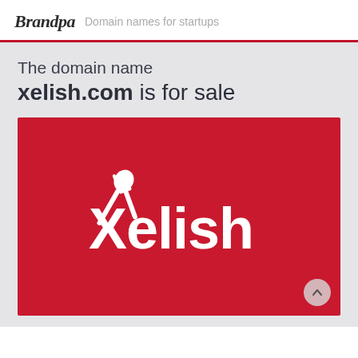Brandpa — Domain names for startups
The domain name
xelish.com is for sale
[Figure (logo): Red background logo image for Xelish.com showing a spoon and fork crossed to form an X shape above the word 'Xelish' in white text, representing a food/restaurant brand concept.]